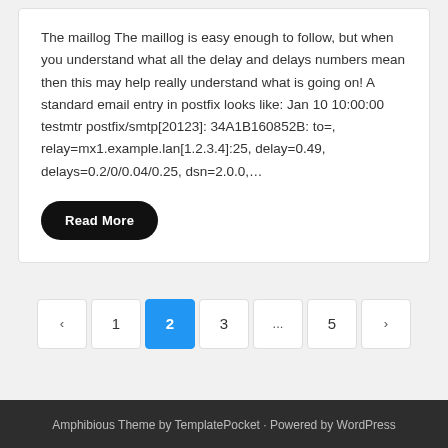The maillog The maillog is easy enough to follow, but when you understand what all the delay and delays numbers mean then this may help really understand what is going on! A standard email entry in postfix looks like: Jan 10 10:00:00 testmtr postfix/smtp[20123]: 34A1B160852B: to=, relay=mx1.example.lan[1.2.3.4]:25, delay=0.49, delays=0.2/0/0.04/0.25, dsn=2.0.0,…
Read More
Amphibious Theme by TemplatePocket · Powered by WordPress